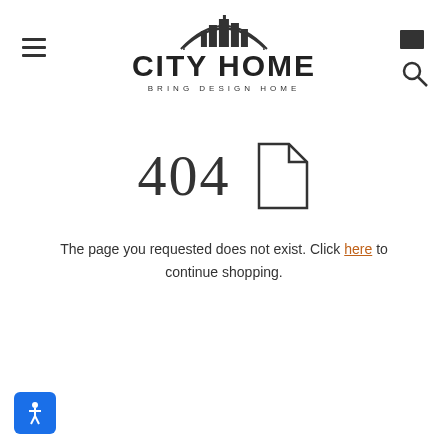[Figure (logo): City Home logo with cityscape illustration above bold uppercase text CITY HOME and tagline BRING DESIGN HOME]
The page you requested does not exist. Click here to continue shopping.
[Figure (illustration): Blue accessibility icon button in bottom left corner]